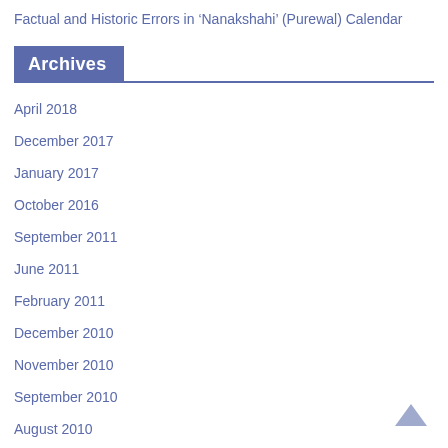Factual and Historic Errors in ‘Nanakshahi’ (Purewal) Calendar
Archives
April 2018
December 2017
January 2017
October 2016
September 2011
June 2011
February 2011
December 2010
November 2010
September 2010
August 2010